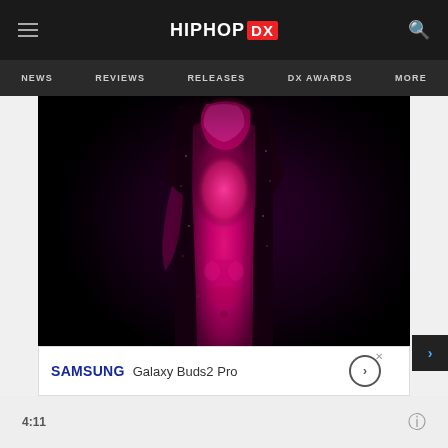HIPHOP DX
NEWS  REVIEWS  RELEASES  DX AWARDS  MORE
[Figure (photo): A male figure photographed in near-darkness with dramatic magenta/pink lighting illuminating his bare torso. He wears an open dark jacket and jeans, head tilted downward. The background is black.]
4:11
[Figure (screenshot): Samsung Galaxy Buds2 Pro advertisement banner with Samsung logo, product name text, and a circular arrow button on a white background.]